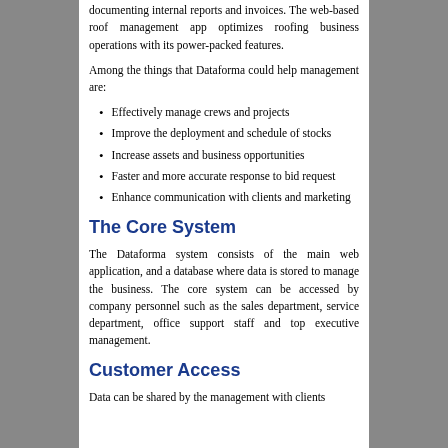documenting internal reports and invoices. The web-based roof management app optimizes roofing business operations with its power-packed features.
Among the things that Dataforma could help management are:
Effectively manage crews and projects
Improve the deployment and schedule of stocks
Increase assets and business opportunities
Faster and more accurate response to bid request
Enhance communication with clients and marketing
The Core System
The Dataforma system consists of the main web application, and a database where data is stored to manage the business. The core system can be accessed by company personnel such as the sales department, service department, office support staff and top executive management.
Customer Access
Data can be shared by the management with clients